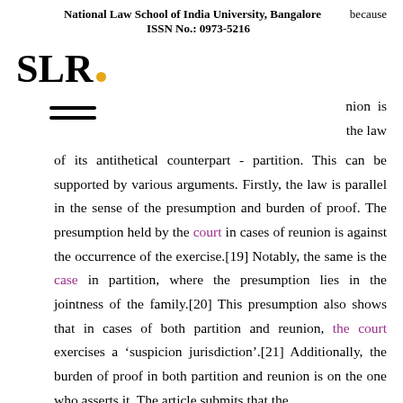because
National Law School of India University, Bangalore   ISSN No.: 0973-5216
[Figure (logo): SLR logo with orange dot]
[Figure (other): Hamburger/menu icon with three horizontal lines]
nion is the law of its antithetical counterpart - partition. This can be supported by various arguments. Firstly, the law is parallel in the sense of the presumption and burden of proof. The presumption held by the court in cases of reunion is against the occurrence of the exercise.[19] Notably, the same is the case in partition, where the presumption lies in the jointness of the family.[20] This presumption also shows that in cases of both partition and reunion, the court exercises a ‘suspicion jurisdiction’.[21] Additionally, the burden of proof in both partition and reunion is on the one who asserts it. The article submits that the